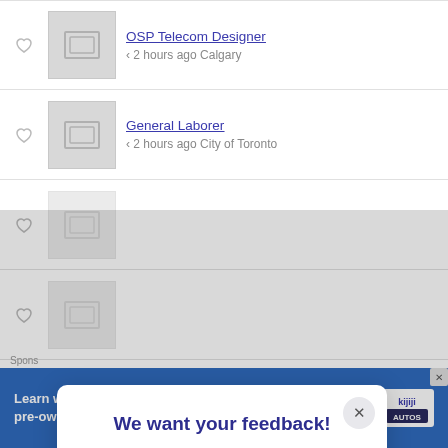OSP Telecom Designer · < 2 hours ago Calgary
General Laborer · < 2 hours ago City of Toronto
(partial listing row)
(partial listing row)
(partial listing row)
We want your feedback!
How easy was it to find what you were looking for on Kijiji?
[Figure (infographic): Five emoji faces from very angry to very happy representing Difficult, (unlabeled), Neutral, (unlabeled), Easy rating scale]
Learn what certified pre-owned really means   Read more   kijiji AUTOS